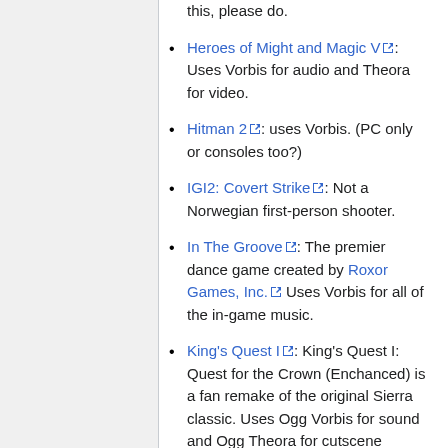this, please do.
Heroes of Might and Magic V: Uses Vorbis for audio and Theora for video.
Hitman 2: uses Vorbis. (PC only or consoles too?)
IGI2: Covert Strike: Not a Norwegian first-person shooter.
In The Groove: The premier dance game created by Roxor Games, Inc. Uses Vorbis for all of the in-game music.
King's Quest I: King's Quest I: Quest for the Crown (Enchanced) is a fan remake of the original Sierra classic. Uses Ogg Vorbis for sound and Ogg Theora for cutscene movies.
KULT Heretic Kingdoms by 3D